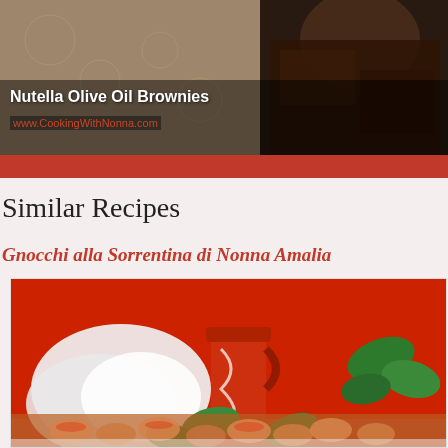[Figure (photo): Photo of Nutella Olive Oil Brownies with a woman in background, dark chocolate texture visible, on lace background]
Nutella Olive Oil Brownies
www.CookingWithNonna.com
Similar Recipes
Gnocchi alla Sorrentina di Nonna Amalia
[Figure (photo): Photo of Gnocchi alla Sorrentina on a plate with tomato sauce and fresh basil leaves, mozzarella and a red ceramic pitcher in background against a red backdrop]